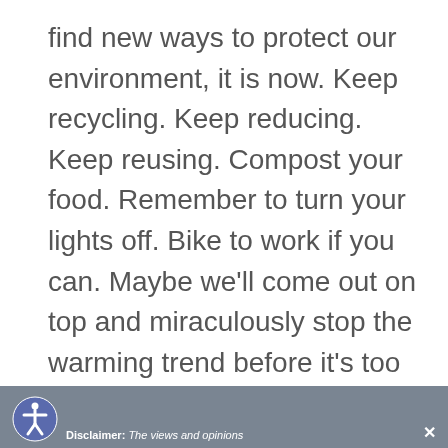find new ways to protect our environment, it is now. Keep recycling. Keep reducing. Keep reusing. Compost your food. Remember to turn your lights off. Bike to work if you can. Maybe we'll come out on top and miraculously stop the warming trend before it's too late. But to ignore the facts and assume our idyllic Vermont winters will remain the same would be to live in a fantasy world.
Share This ∨  ✕  Disclaimer: The views and opinions